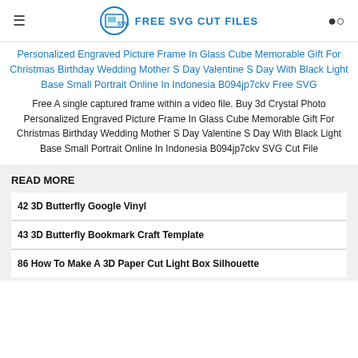FREE SVG CUT FILES
Personalized Engraved Picture Frame In Glass Cube Memorable Gift For Christmas Birthday Wedding Mother S Day Valentine S Day With Black Light Base Small Portrait Online In Indonesia B094jp7ckv Free SVG
Free A single captured frame within a video file. Buy 3d Crystal Photo Personalized Engraved Picture Frame In Glass Cube Memorable Gift For Christmas Birthday Wedding Mother S Day Valentine S Day With Black Light Base Small Portrait Online In Indonesia B094jp7ckv SVG Cut File
READ MORE
42 3D Butterfly Google Vinyl
43 3D Butterfly Bookmark Craft Template
86 How To Make A 3D Paper Cut Light Box Silhouette